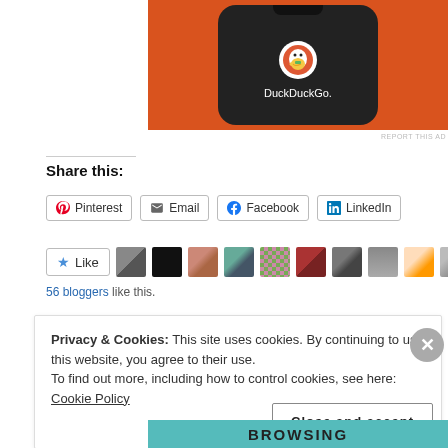[Figure (screenshot): DuckDuckGo advertisement showing a phone mockup with the DuckDuckGo logo on an orange background]
REPORT THIS AD
Share this:
Pinterest  Email  Facebook  LinkedIn
[Figure (screenshot): Like button with star icon followed by 10 blogger avatar thumbnails]
56 bloggers like this.
Privacy & Cookies: This site uses cookies. By continuing to use this website, you agree to their use.
To find out more, including how to control cookies, see here: Cookie Policy
Close and accept
[Figure (screenshot): Bottom advertisement banner with BROWSING text]